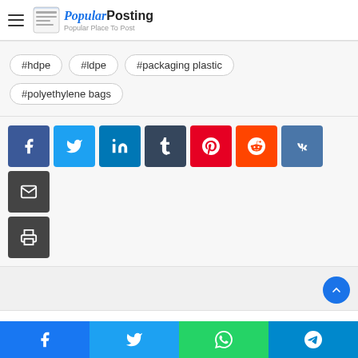Popular Posting — Popular Place To Post
#hdpe
#ldpe
#packaging plastic
#polyethylene bags
[Figure (infographic): Social share buttons: Facebook, Twitter, LinkedIn, Tumblr, Pinterest, Reddit, VK, Email, Print]
[Figure (infographic): Bottom share bar: Facebook, Twitter, WhatsApp, Telegram]